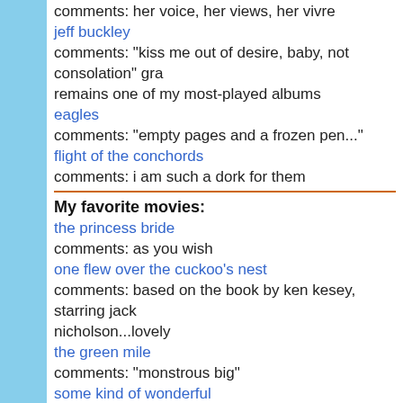comments: her voice, her views, her vivre
jeff buckley
comments: "kiss me out of desire, baby, not consolation" gra remains one of my most-played albums
eagles
comments: "empty pages and a frozen pen..."
flight of the conchords
comments: i am such a dork for them
My favorite movies:
the princess bride
comments: as you wish
one flew over the cuckoo's nest
comments: based on the book by ken kesey, starring jack nicholson...lovely
the green mile
comments: "monstrous big"
some kind of wonderful
comments: you look good wearing my future
the breakfast club
comments: i figure all i need's a labotomy and some tights [a friends, 40 yr old virgin, i could never be your woman, stardu actually, harry potter and the various thingies, HOT FUZZ, ma others)